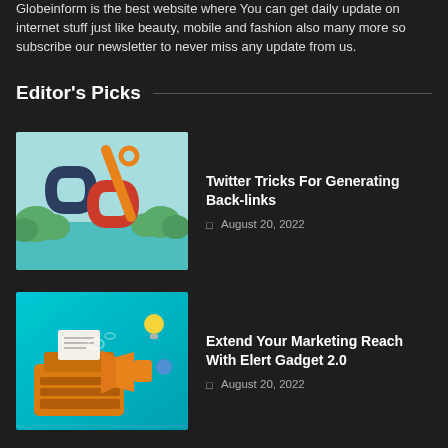Globeinform is the best website where You can get daily update on internet stuff just like beauty, mobile and fashion also many more so subscribe our newsletter to never miss any update from us.
Editor's Picks
[Figure (illustration): Chain links illustration with two interlinked chain loops in dark navy and red/orange, with an orange bicycle/chain element crossing through, on a teal background with green tree-like shapes.]
Twitter Tricks For Generating Back-links
August 20, 2022
[Figure (illustration): Marketing illustration with an orange typewriter and a megaphone/bullhorn, with a light bulb and location pin icon, on a cyan/teal gradient background.]
Extend Your Marketing Reach With Elert Gadget 2.0
August 20, 2022